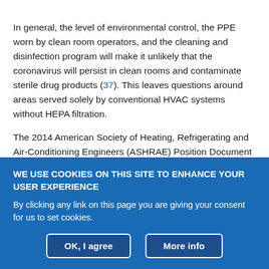In general, the level of environmental control, the PPE worn by clean room operators, and the cleaning and disinfection program will make it unlikely that the coronavirus will persist in clean rooms and contaminate sterile drug products (37). This leaves questions around areas served solely by conventional HVAC systems without HEPA filtration.
The 2014 American Society of Heating, Refrigerating and Air-Conditioning Engineers (ASHRAE) Position Document (38) highlights that some infectious diseases including those caused by coronaviruses are transmitted through the inhalation of airborne
WE USE COOKIES ON THIS SITE TO ENHANCE YOUR USER EXPERIENCE
By clicking any link on this page you are giving your consent for us to set cookies.